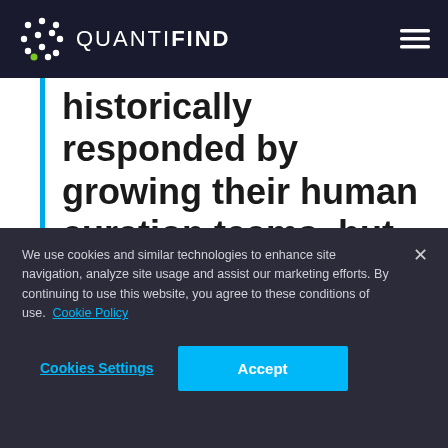QUANTIFIND
historically responded by growing their human curation teams, but this path is not scalable. There is a rapidly
We use cookies and similar technologies to enhance site navigation, analyze site usage and assist our marketing efforts. By continuing to use this website, you agree to these conditions of use. Cookie Policy
Cookies Settings   Accept